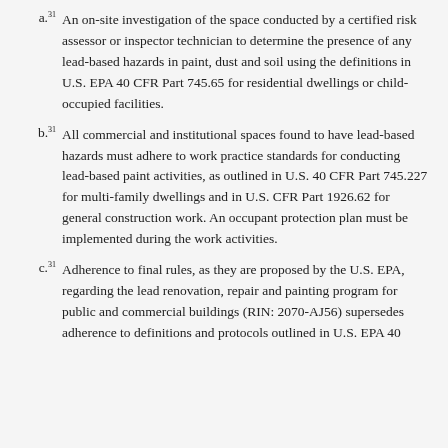a.31 An on-site investigation of the space conducted by a certified risk assessor or inspector technician to determine the presence of any lead-based hazards in paint, dust and soil using the definitions in U.S. EPA 40 CFR Part 745.65 for residential dwellings or child-occupied facilities.
b.31 All commercial and institutional spaces found to have lead-based hazards must adhere to work practice standards for conducting lead-based paint activities, as outlined in U.S. 40 CFR Part 745.227 for multi-family dwellings and in U.S. CFR Part 1926.62 for general construction work. An occupant protection plan must be implemented during the work activities.
c.31 Adherence to final rules, as they are proposed by the U.S. EPA, regarding the lead renovation, repair and painting program for public and commercial buildings (RIN: 2070-AJ56) supersedes adherence to definitions and protocols outlined in U.S. EPA 40